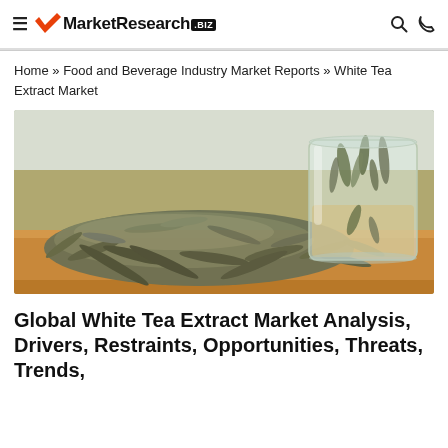≡  MarketResearch.BIZ  🔍 📞
Home » Food and Beverage Industry Market Reports » White Tea Extract Market
[Figure (photo): Photo of loose white tea leaves piled on a wooden board next to a clear glass filled with pale golden white tea and steeping tea leaves]
Global White Tea Extract Market Analysis, Drivers, Restraints, Opportunities, Threats, Trends,